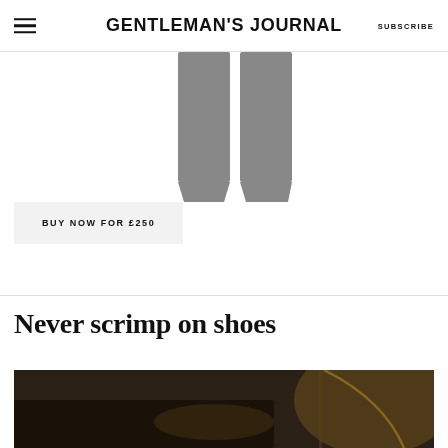GENTLEMAN'S JOURNAL | SUBSCRIBE
[Figure (photo): Two grey trouser legs hanging, product photo on white background]
BUY NOW FOR £250
Never scrimp on shoes
[Figure (photo): Dark moody photo of shoes, bottom portion of image showing shoe against a dark background with warm ambient light]